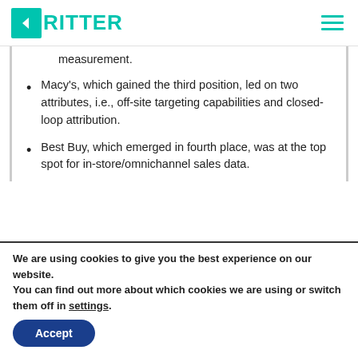KRITTER
measurement.
Macy's, which gained the third position, led on two attributes, i.e., off-site targeting capabilities and closed-loop attribution.
Best Buy, which emerged in fourth place, was at the top spot for in-store/omnichannel sales data.
We are using cookies to give you the best experience on our website. You can find out more about which cookies we are using or switch them off in settings. Accept